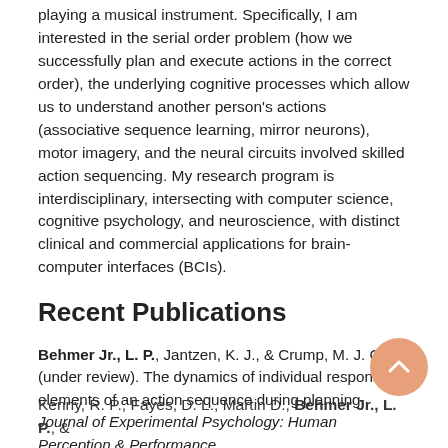playing a musical instrument. Specifically, I am interested in the serial order problem (how we successfully plan and execute actions in the correct order), the underlying cognitive processes which allow us to understand another person's actions (associative sequence learning, mirror neurons), motor imagery, and the neural circuits involved skilled action sequencing. My research program is interdisciplinary, intersecting with computer science, cognitive psychology, and neuroscience, with distinct clinical and commercial applications for brain-computer interfaces (BCIs).
Recent Publications
Behmer Jr., L. P., Jantzen, K. J., & Crump, M. J. C. (under review). The dynamics of individual response elements of an action sequence during planning. Journal of Experimental Psychology: Human Perception & Performance.
Kenny, R. P., Fayes, D. L., Martin D., Behmer Jr., L. P., &